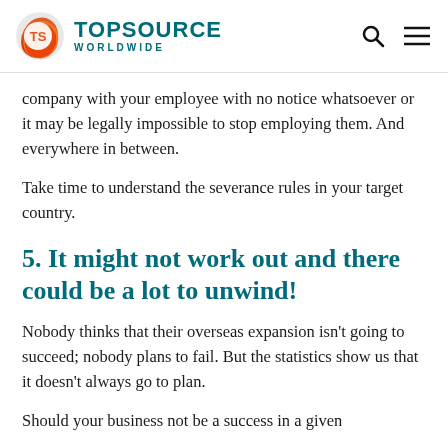TOPSOURCE WORLDWIDE
company with your employee with no notice whatsoever or it may be legally impossible to stop employing them. And everywhere in between.
Take time to understand the severance rules in your target country.
5. It might not work out and there could be a lot to unwind!
Nobody thinks that their overseas expansion isn't going to succeed; nobody plans to fail. But the statistics show us that it doesn't always go to plan.
Should your business not be a success in a given